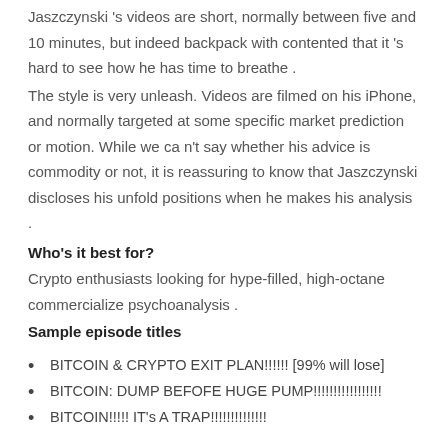Jaszczynski 's videos are short, normally between five and 10 minutes, but indeed backpack with contented that it 's hard to see how he has time to breathe .
The style is very unleash. Videos are filmed on his iPhone, and normally targeted at some specific market prediction or motion. While we ca n't say whether his advice is commodity or not, it is reassuring to know that Jaszczynski discloses his unfold positions when he makes his analysis .
Who's it best for?
Crypto enthusiasts looking for hype-filled, high-octane commercialize psychoanalysis .
Sample episode titles
BITCOIN & CRYPTO EXIT PLAN!!!!!! [99% will lose]
BITCOIN: DUMP BEFOFE HUGE PUMP!!!!!!!!!!!!!!!!!
BITCOIN!!!!! IT's A TRAP!!!!!!!!!!!!!!
8. Lark Davis